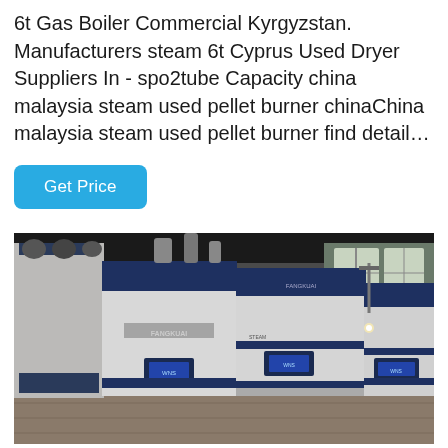6t Gas Boiler Commercial Kyrgyzstan. Manufacturers steam 6t Cyprus Used Dryer Suppliers In - spo2tube Capacity china malaysia steam used pellet burner chinaChina malaysia steam used pellet burner find detail...
Get Price
[Figure (photo): Industrial gas boilers (FANGKUAI branded) installed in a factory/plant room. Two large white-and-navy blue boiler units are visible in the foreground with piping and additional equipment behind them. The room has concrete walls and windows in the background.]